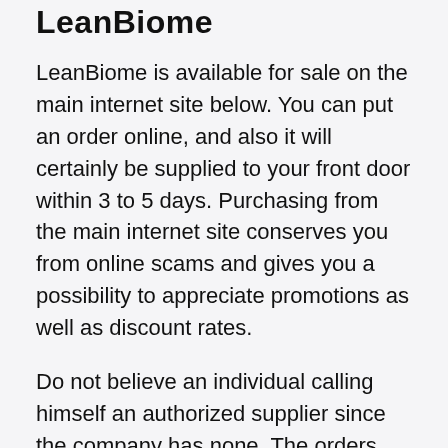LeanBiome
LeanBiome is available for sale on the main internet site below. You can put an order online, and also it will certainly be supplied to your front door within 3 to 5 days. Purchasing from the main internet site conserves you from online scams and gives you a possibility to appreciate promotions as well as discount rates.
Do not believe an individual calling himself an authorized supplier since the company has none. The orders are gotten by the company team and also dispatched from the stockroom directly.
It is not an expensive item as well as just needs a tiny wellness spending plan. There are three ways